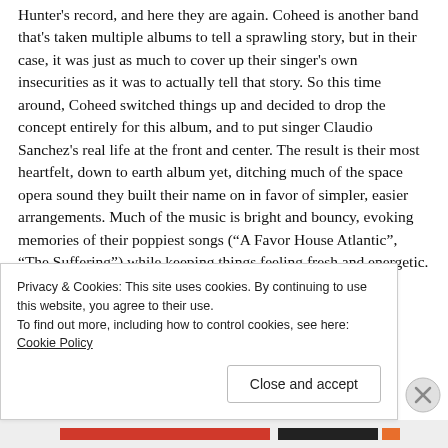Hunter's record, and here they are again. Coheed is another band that's taken multiple albums to tell a sprawling story, but in their case, it was just as much to cover up their singer's own insecurities as it was to actually tell that story. So this time around, Coheed switched things up and decided to drop the concept entirely for this album, and to put singer Claudio Sanchez's real life at the front and center. The result is their most heartfelt, down to earth album yet, ditching much of the space opera sound they built their name on in favor of simpler, easier arrangements. Much of the music is bright and bouncy, evoking memories of their poppiest songs (“A Favor House Atlantic”, “The Suffering”) while keeping things feeling fresh and energetic. But the lyrics are a bit darker, detailing
Privacy & Cookies: This site uses cookies. By continuing to use this website, you agree to their use.
To find out more, including how to control cookies, see here: Cookie Policy
Close and accept